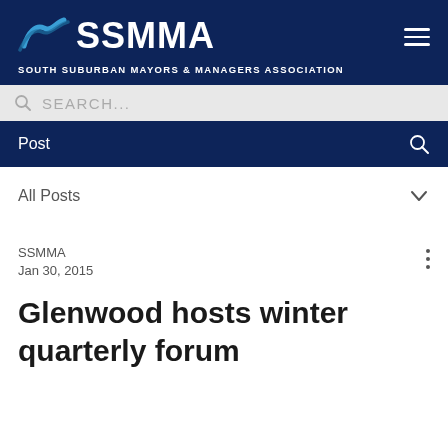[Figure (logo): SSMMA logo with blue wave graphic and text SSMMA, tagline SOUTH SUBURBAN MAYORS & MANAGERS ASSOCIATION]
Post
All Posts
SSMMA
Jan 30, 2015
Glenwood hosts winter quarterly forum